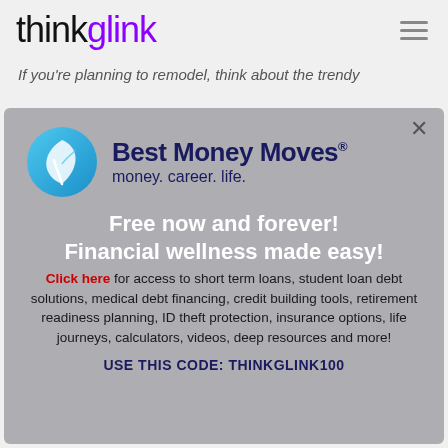[Figure (logo): thinkglink logo — 'think' in black, 'glink' in purple]
If you're planning to remodel, think about the trendy
[Figure (infographic): Best Money Moves advertisement popup with leaf logo, tagline 'money. career. life.', headline 'Free now and forever! Financial wellness made easy!', body text with Click here link, and promotional code THINKGLINK100]